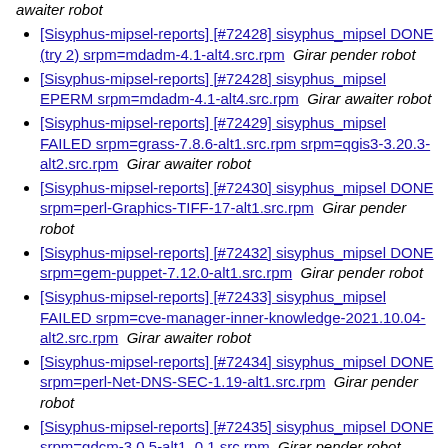awaiter robot
[Sisyphus-mipsel-reports] [#72428] sisyphus_mipsel DONE (try 2) srpm=mdadm-4.1-alt4.src.rpm  Girar pender robot
[Sisyphus-mipsel-reports] [#72428] sisyphus_mipsel EPERM srpm=mdadm-4.1-alt4.src.rpm  Girar awaiter robot
[Sisyphus-mipsel-reports] [#72429] sisyphus_mipsel FAILED srpm=grass-7.8.6-alt1.src.rpm srpm=qgis3-3.20.3-alt2.src.rpm  Girar awaiter robot
[Sisyphus-mipsel-reports] [#72430] sisyphus_mipsel DONE srpm=perl-Graphics-TIFF-17-alt1.src.rpm  Girar pender robot
[Sisyphus-mipsel-reports] [#72432] sisyphus_mipsel DONE srpm=gem-puppet-7.12.0-alt1.src.rpm  Girar pender robot
[Sisyphus-mipsel-reports] [#72433] sisyphus_mipsel FAILED srpm=cve-manager-inner-knowledge-2021.10.04-alt2.src.rpm  Girar awaiter robot
[Sisyphus-mipsel-reports] [#72434] sisyphus_mipsel DONE srpm=perl-Net-DNS-SEC-1.19-alt1.src.rpm  Girar pender robot
[Sisyphus-mipsel-reports] [#72435] sisyphus_mipsel DONE srpm=gdcm-3.0.5-alt1_0.1.src.rpm  Girar pender robot
[Sisyphus-mipsel-reports] [#72436] sisyphus_mipsel DONE (try 3) srpm=python3-module-async-upnp-client-0.22.8-alt1.src.rpm ...  Girar pender robot
[Sisyphus-mipsel-reports] [#72436] sisyphus_mipsel